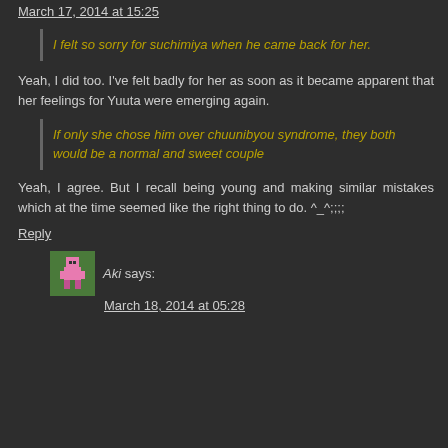March 17, 2014 at 15:25
I felt so sorry for suchimiya when he came back for her.
Yeah, I did too. I've felt badly for her as soon as it became apparent that her feelings for Yuuta were emerging again.
If only she chose him over chuunibyou syndrome, they both would be a normal and sweet couple
Yeah, I agree. But I recall being young and making similar mistakes which at the time seemed like the right thing to do. ^_^;;;;
Reply
Aki says:
March 18, 2014 at 05:28